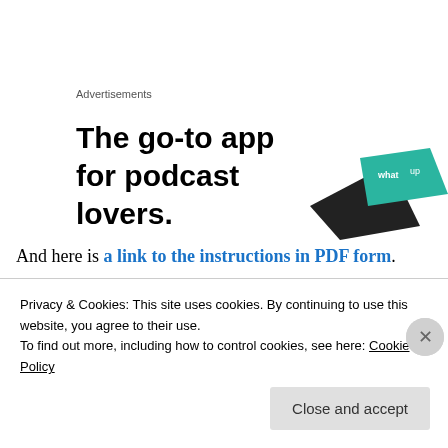Advertisements
[Figure (illustration): Advertisement banner: 'The go-to app for podcast lovers.' with a dark device and green card graphic]
And here is a link to the instructions in PDF form.
Advertisements
[Figure (illustration): Partially visible second advertisement banner]
Privacy & Cookies: This site uses cookies. By continuing to use this website, you agree to their use.
To find out more, including how to control cookies, see here: Cookie Policy
Close and accept